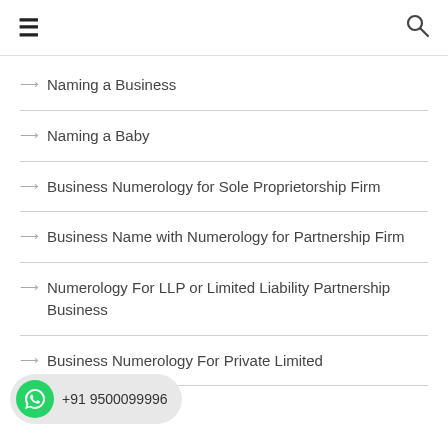☰  🔍
→ Naming a Business
→ Naming a Baby
→ Business Numerology for Sole Proprietorship Firm
→ Business Name with Numerology for Partnership Firm
→ Numerology For LLP or Limited Liability Partnership Business
→ Business Numerology For Private Limited
→ Love & Marriage
+91 9500099996